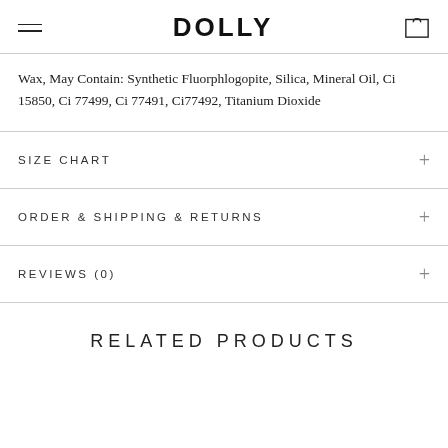DOLLY
Wax, May Contain: Synthetic Fluorphlogopite, Silica, Mineral Oil, Ci 15850, Ci 77499, Ci 77491, Ci77492, Titanium Dioxide
SIZE CHART
ORDER & SHIPPING & RETURNS
REVIEWS (0)
RELATED PRODUCTS